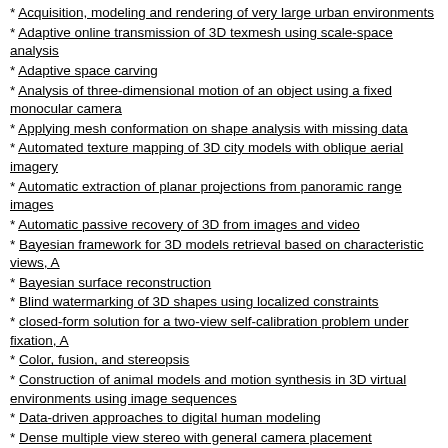Acquisition, modeling and rendering of very large urban environments
Adaptive online transmission of 3D texmesh using scale-space analysis
Adaptive space carving
Analysis of three-dimensional motion of an object using a fixed monocular camera
Applying mesh conformation on shape analysis with missing data
Automated texture mapping of 3D city models with oblique aerial imagery
Automatic extraction of planar projections from panoramic range images
Automatic passive recovery of 3D from images and video
Bayesian framework for 3D models retrieval based on characteristic views, A
Bayesian surface reconstruction
Blind watermarking of 3D shapes using localized constraints
closed-form solution for a two-view self-calibration problem under fixation, A
Color, fusion, and stereopsis
Construction of animal models and motion synthesis in 3D virtual environments using image sequences
Data-driven approaches to digital human modeling
Dense multiple view stereo with general camera placement